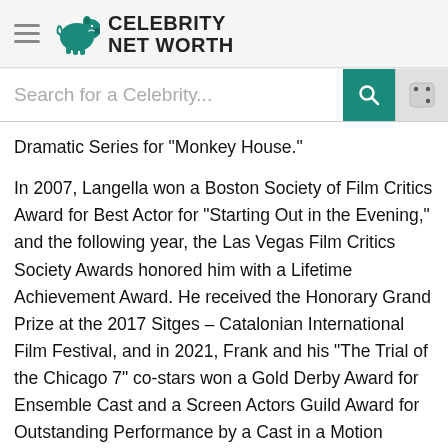Celebrity Net Worth
Dramatic Series for "Monkey House."
In 2007, Langella won a Boston Society of Film Critics Award for Best Actor for "Starting Out in the Evening," and the following year, the Las Vegas Film Critics Society Awards honored him with a Lifetime Achievement Award. He received the Honorary Grand Prize at the 2017 Sitges – Catalonian International Film Festival, and in 2021, Frank and his "The Trial of the Chicago 7" co-stars won a Gold Derby Award for Ensemble Cast and a Screen Actors Guild Award for Outstanding Performance by a Cast in a Motion Picture. Langella has also received nominations for "Dracula" (Academy of Science Fiction, Fantasy & Horror Films), "The Box"